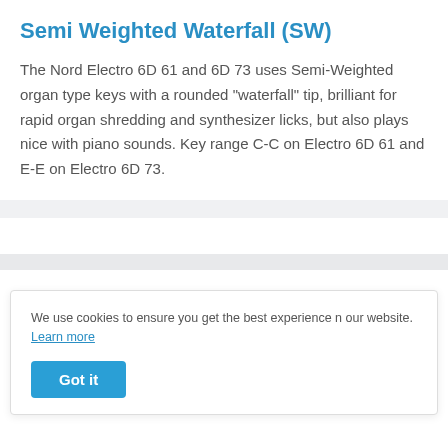Semi Weighted Waterfall (SW)
The Nord Electro 6D 61 and 6D 73 uses Semi-Weighted organ type keys with a rounded "waterfall" tip, brilliant for rapid organ shredding and synthesizer licks, but also plays nice with piano sounds. Key range C-C on Electro 6D 61 and E-E on Electro 6D 73.
Payment & Security
[Figure (logo): PayPal logo icon in a bordered box]
We use cookies to ensure you get the best experience n our website. Learn more
Got it